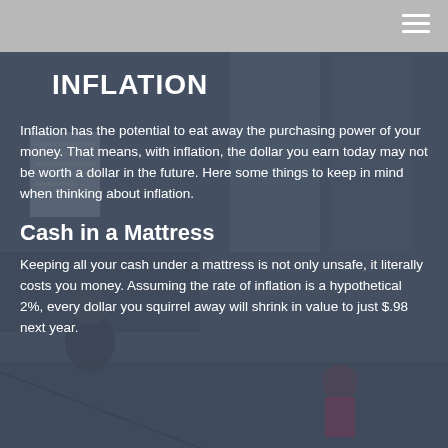INFLATION
Inflation has the potential to eat away the purchasing power of your money. That means, with inflation, the dollar you earn today may not be worth a dollar in the future. Here some things to keep in mind when thinking about inflation.
Cash in a Mattress
Keeping all your cash under a mattress is not only unsafe, it literally costs you money. Assuming the rate of inflation is a hypothetical 2%, every dollar you squirrel away will shrink in value to just $.98 next year.